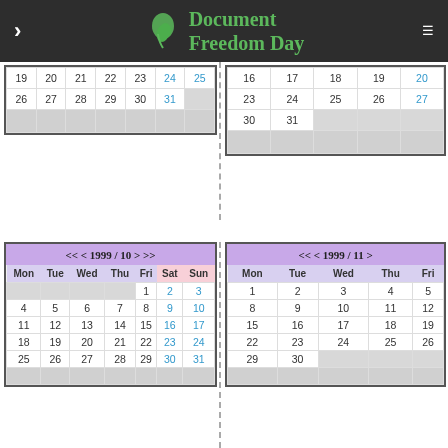Document Freedom Day
| Mon | Tue | Wed | Thu | Fri | Sat | Sun |
| --- | --- | --- | --- | --- | --- | --- |
| 19 | 20 | 21 | 22 | 23 | 24 | 25 |
| 26 | 27 | 28 | 29 | 30 | 31 |  |
| Mon | Tue | Wed | Thu | Fri |
| --- | --- | --- | --- | --- |
| 16 | 17 | 18 | 19 | 20 |
| 23 | 24 | 25 | 26 | 27 |
| 30 | 31 |  |  |  |
| Mon | Tue | Wed | Thu | Fri | Sat | Sun |
| --- | --- | --- | --- | --- | --- | --- |
|  |  |  |  | 1 | 2 | 3 |
| 4 | 5 | 6 | 7 | 8 | 9 | 10 |
| 11 | 12 | 13 | 14 | 15 | 16 | 17 |
| 18 | 19 | 20 | 21 | 22 | 23 | 24 |
| 25 | 26 | 27 | 28 | 29 | 30 | 31 |
| Mon | Tue | Wed | Thu | Fri |
| --- | --- | --- | --- | --- |
| 1 | 2 | 3 | 4 | 5 |
| 8 | 9 | 10 | 11 | 12 |
| 15 | 16 | 17 | 18 | 19 |
| 22 | 23 | 24 | 25 | 26 |
| 29 | 30 |  |  |  |